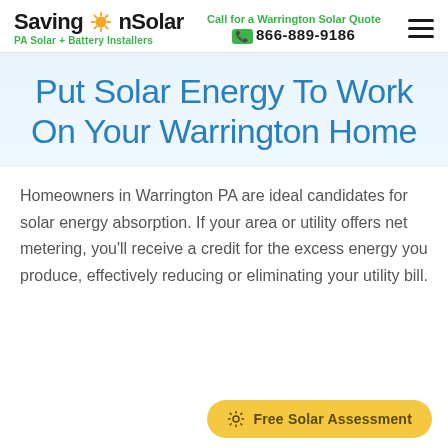SavingOnSolar — Call for a Warrington Solar Quote — 866-889-9186 — PA Solar + Battery Installers
Put Solar Energy To Work On Your Warrington Home
Homeowners in Warrington PA are ideal candidates for solar energy absorption. If your area or utility offers net metering, you'll receive a credit for the excess energy you produce, effectively reducing or eliminating your utility bill.